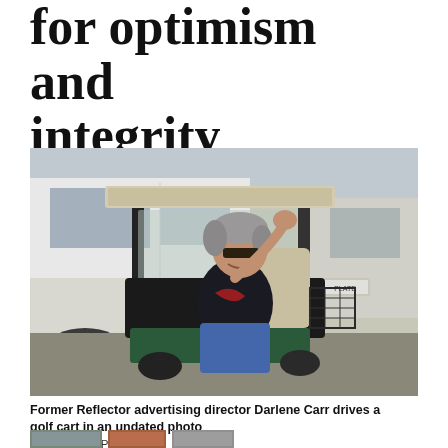for optimism and integrity
[Figure (photo): Former Reflector advertising director Darlene Carr sitting in a golf cart in a parking lot, waving, wearing sunglasses and a dark jacket with jeans. A white pickup truck is visible in the background.]
Former Reflector advertising director Darlene Carr drives a golf cart in an undated photo
COURTESY PHOTO
[Figure (photo): Three small thumbnail photos visible at the bottom of the page, partially cropped.]